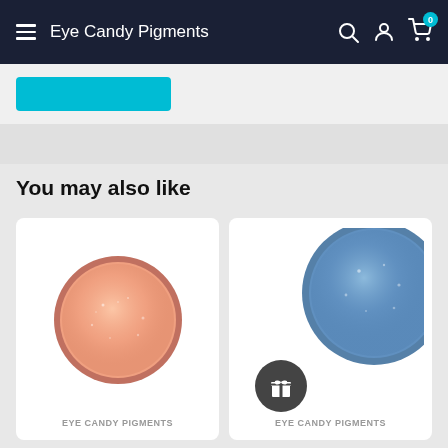Eye Candy Pigments
[Figure (screenshot): Teal/cyan rectangular button, partially visible]
You may also like
[Figure (photo): Eye shadow compact — peach/rose gold color with rose gold rim]
EYE CANDY PIGMENTS
[Figure (photo): Eye shadow compact — blue/steel color with silver rim, partially cropped, with dark gift icon overlay]
EYE CANDY PIGMENTS